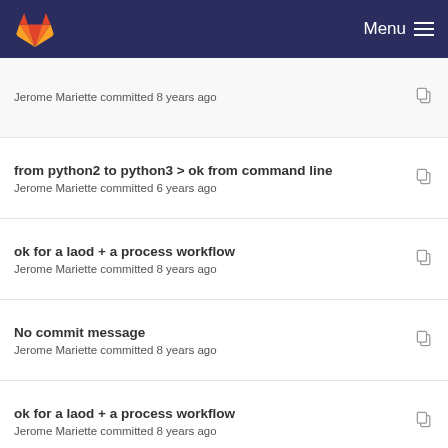GitLab Menu
Jerome Mariette committed 8 years ago
from python2 to python3 > ok from command line
Jerome Mariette committed 6 years ago
ok for a laod + a process workflow
Jerome Mariette committed 8 years ago
No commit message
Jerome Mariette committed 8 years ago
ok for a laod + a process workflow
Jerome Mariette committed 8 years ago
No commit message
Jerome Mariette committed 8 years ago
first step to make Parameter looks good
Jerome Mariette committed 8 years ago
from python2 to python3 > ok from command line
Jerome Mariette committed 6 years ago